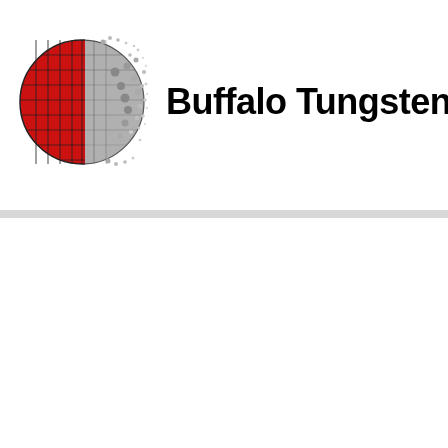[Figure (logo): Buffalo Tungsten company logo: a globe rendered half in red grid pattern and half in grey/silver dissolving into dots/pixels, next to bold black text 'Buffalo Tungsten']